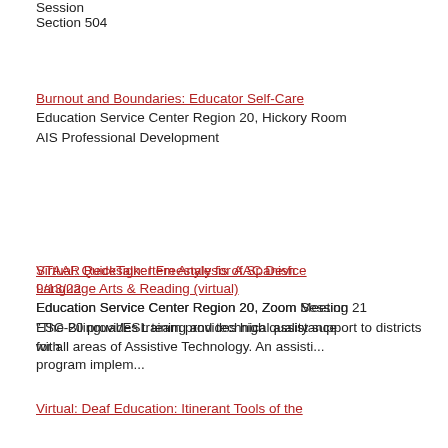Session
Section 504
Burnout and Boundaries: Educator Self-Care
Education Service Center Region 20, Hickory Room
AIS Professional Development
Virtual: QuickTalker Freestyle for AAC Device 9/13/22
Education Service Center Region 20, Zoom Session
ESC-20 provides training and technical assistance for all areas of Assistive Technology. An assisti...
STAAR Redesign: Item Analysis of Spanish Language Arts & Reading (virtual)
Education Service Center Region 20, Zoom Meeting 21
"The Bilingual/ESL team provides high quality support to districts with program implem...
Virtual: Deaf Education: Itinerant Tools of the